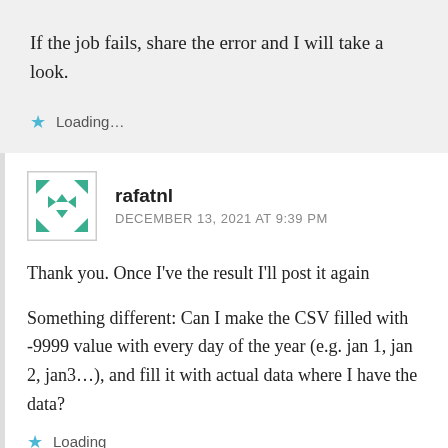If the job fails, share the error and I will take a look.
Loading...
rafatnl
DECEMBER 13, 2021 AT 9:39 PM
Thank you. Once I've the result I'll post it again
Something different: Can I make the CSV filled with -9999 value with every day of the year (e.g. jan 1, jan 2, jan3...), and fill it with actual data where I have the data?
Loading